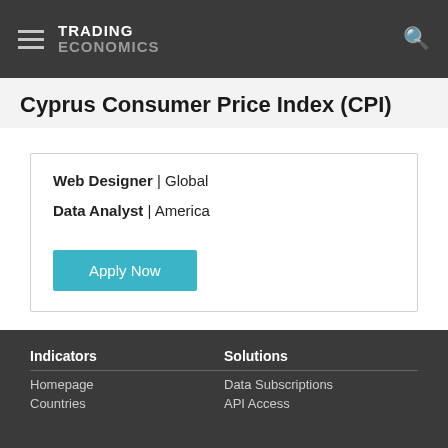TRADING ECONOMICS
Cyprus Consumer Price Index (CPI)
Web Designer | Global
Data Analyst | America
Apply Now
Indicators
Homepage
Countries
Solutions
Data Subscriptions
API Access